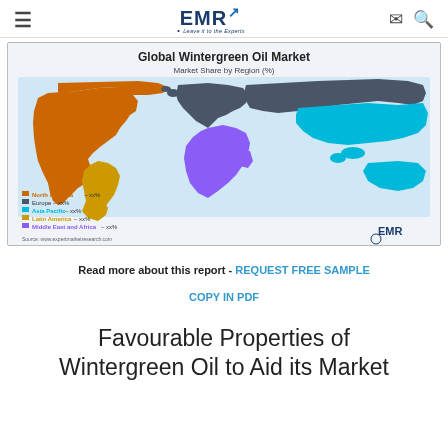EMR - Leave it to the Experts
[Figure (map): World map showing Global Wintergreen Oil Market share by region. Regions colored: North America (orange), Europe (dark slate/blue-grey), Asia Pacific (cyan/light blue), Latin America (gold/yellow), Middle East and Africa (purple). Legend lists: North America – xx%, Europe – xx%, Asia Pacific – xx%, Latin America – xx%, Middle East and Africa – xx%. Source: www.expertmarketresearch.com]
Read more about this report - REQUEST FREE SAMPLE
COPY IN PDF
Favourable Properties of Wintergreen Oil to Aid its Market